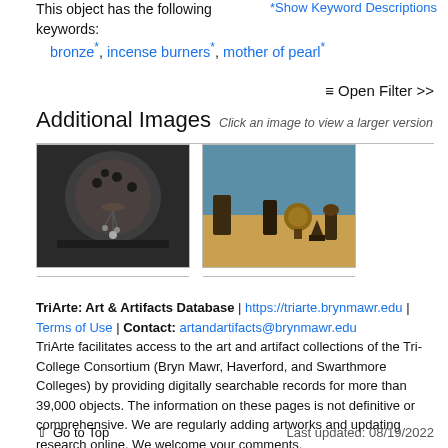This object has the following keywords:
*Show Keyword Descriptions
bronze*, incense burners*, mother of pearl*
≡ Open Filter >>
Additional Images Click an image to view a larger version
[Figure (photo): Close-up photo of a dark bronze incense burner with decorative holes and dangling ornaments]
[Figure (photo): Photo of several bronze figurines on a wooden surface including a globe and animal figures, with a blue background]
TriArte: Art & Artifacts Database | https://triarte.brynmawr.edu | Terms of Use | Contact: artandartifacts@brynmawr.edu
TriArte facilitates access to the art and artifact collections of the Tri-College Consortium (Bryn Mawr, Haverford, and Swarthmore Colleges) by providing digitally searchable records for more than 39,000 objects. The information on these pages is not definitive or comprehensive. We are regularly adding artworks and updating research online. We welcome your comments.
↑ Go to Top    Last updated: 08/19/2022